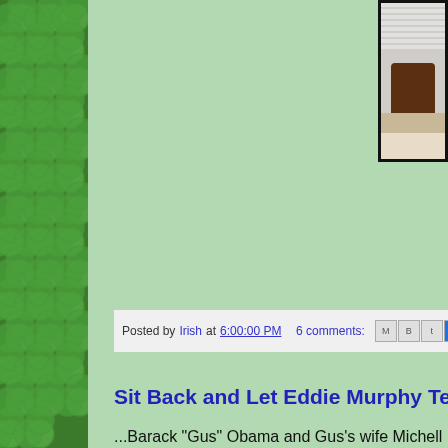[Figure (illustration): Green shamrock/clover pattern sidebar on the left]
[Figure (photo): Partial photo in upper right corner with dark border, showing an indoor scene]
Posted by Irish at 6:00:00 PM   6 comments:
Sit Back and Let Eddie Murphy Tell Yo
...Barack "Gus" Obama and Gus's wife Michell